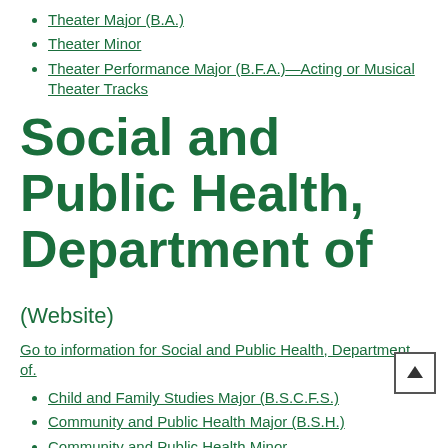Theater Major (B.A.)
Theater Minor
Theater Performance Major (B.F.A.)—Acting or Musical Theater Tracks
Social and Public Health, Department of (Website)
Go to information for Social and Public Health, Department of.
Child and Family Studies Major (B.S.C.F.S.)
Community and Public Health Major (B.S.H.)
Community and Public Health Minor